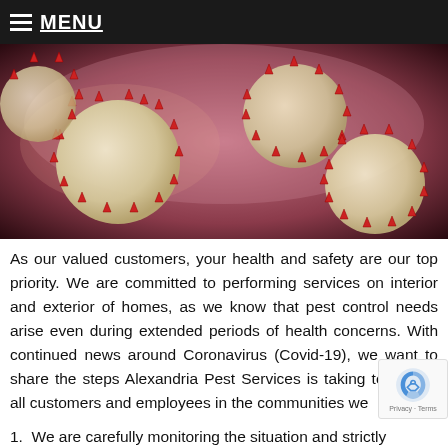≡ MENU
[Figure (photo): Close-up 3D illustration of coronavirus particles with red spike proteins on a pink/purple background]
As our valued customers, your health and safety are our top priority. We are committed to performing services on interior and exterior of homes, as we know that pest control needs arise even during extended periods of health concerns. With continued news around Coronavirus (Covid-19), we want to share the steps Alexandria Pest Services is taking to protect all customers and employees in the communities we
1.  We are carefully monitoring the situation and strictly